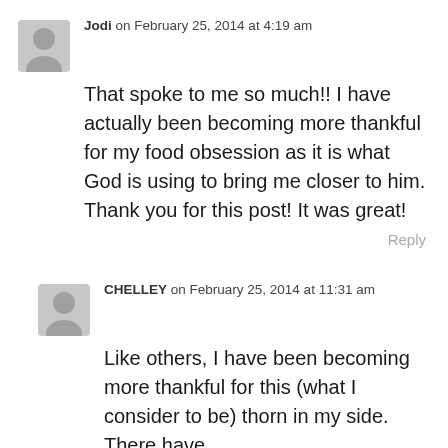Jodi on February 25, 2014 at 4:19 am
That spoke to me so much!! I have actually been becoming more thankful for my food obsession as it is what God is using to bring me closer to him. Thank you for this post! It was great!
Reply
CHELLEY on February 25, 2014 at 11:31 am
Like others, I have been becoming more thankful for this (what I consider to be) thorn in my side. There have